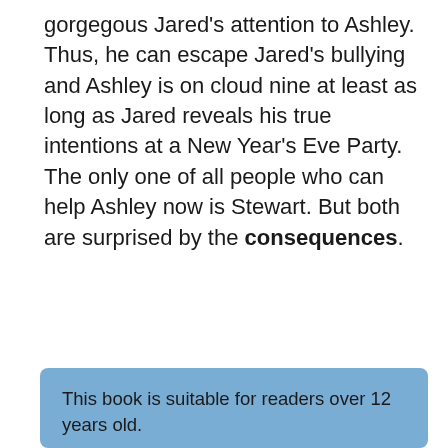gorgegous Jared's attention to Ashley. Thus, he can escape Jared's bullying and Ashley is on cloud nine at least as long as Jared reveals his true intentions at a New Year's Eve Party. The only one of all people who can help Ashley now is Stewart. But both are surprised by the consequences.
This book is suitable for readers over 12 years old.

Susin Nielsen is a published Canadian author of children's books and young adult books. Some of the published credits of Susin Nielsen include Word Nerd, Degrassi Junior High: Wheels, Degrassi Junior High: Melanie, and Snake (Degrassi Junior High). She received a Governor General's Award and the 2013 Canadian Library Association Book of the Year for Children Award for her young adult novel The Reluctant Journal of Henry K. Larsen, which deals with